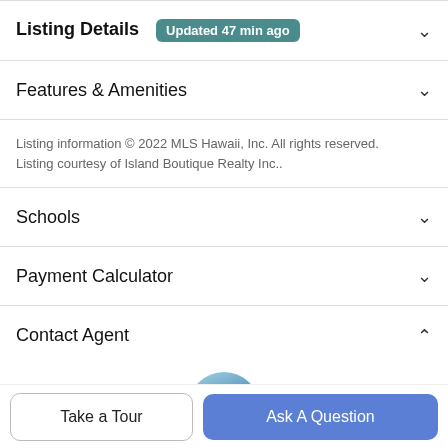Listing Details — Updated 47 min ago
Features & Amenities
Listing information © 2022 MLS Hawaii, Inc. All rights reserved. Listing courtesy of Island Boutique Realty Inc..
Schools
Payment Calculator
Contact Agent
[Figure (photo): Circular avatar photo of a person with dark hair, sky and greenery background]
Take a Tour
Ask A Question